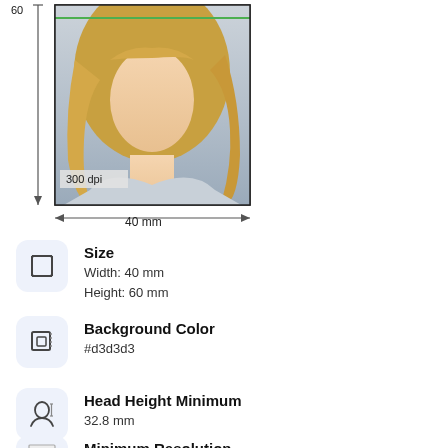[Figure (photo): Passport photo of a blonde woman with dimension annotations: 60 mm height (left arrow), 40 mm width (bottom arrow), 300 dpi label inside photo, green line at top of face area, black border around photo.]
Size
Width: 40 mm
Height: 60 mm
Background Color
#d3d3d3
Head Height Minimum
32.8 mm
Minimum Resolution